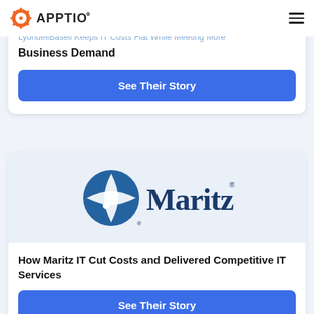[Figure (logo): Apptio logo with orange gear icon and dark text APPTIO]
LyondellBasell Keeps IT Costs Flat While Meeting More Business Demand
See Their Story
[Figure (logo): Maritz logo: blue circular icon and dark blue Maritz wordmark with registered trademark]
How Maritz IT Cut Costs and Delivered Competitive IT Services
See Their Story